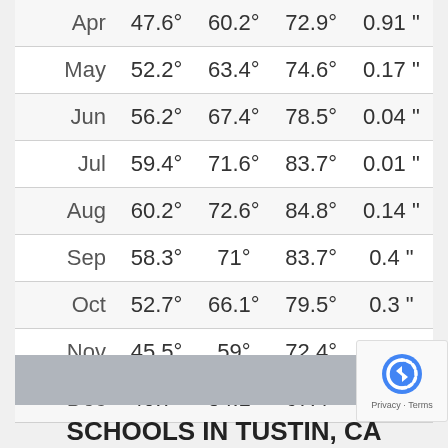| Apr | 47.6° | 60.2° | 72.9° | 0.91" |
| May | 52.2° | 63.4° | 74.6° | 0.17" |
| Jun | 56.2° | 67.4° | 78.5° | 0.04" |
| Jul | 59.4° | 71.6° | 83.7° | 0.01" |
| Aug | 60.2° | 72.6° | 84.8° | 0.14" |
| Sep | 58.3° | 71° | 83.7° | 0.4" |
| Oct | 52.7° | 66.1° | 79.5° | 0.3" |
| Nov | 45.5° | 59° | 72.4° | 1.57" |
| Dec | 40.7° | 54.1° | 67.4° | 1.74" |
SCHOOLS IN TUSTIN, CA